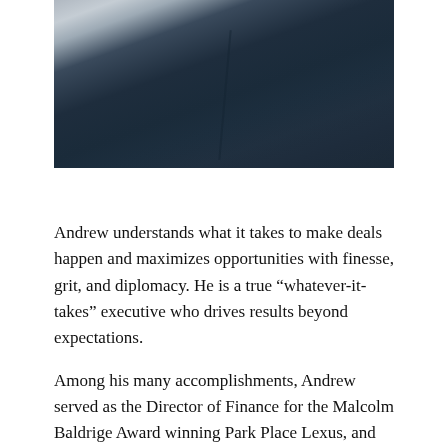[Figure (photo): Close-up photo of a person wearing a dark navy suit jacket with a white shirt and tie visible at the collar]
Andrew understands what it takes to make deals happen and maximizes opportunities with finesse, grit, and diplomacy. He is a true “whatever-it-takes” executive who drives results beyond expectations.
Among his many accomplishments, Andrew served as the Director of Finance for the Malcolm Baldrige Award winning Park Place Lexus, and managed a team of fifty and directed the lending of $300 million per year. In